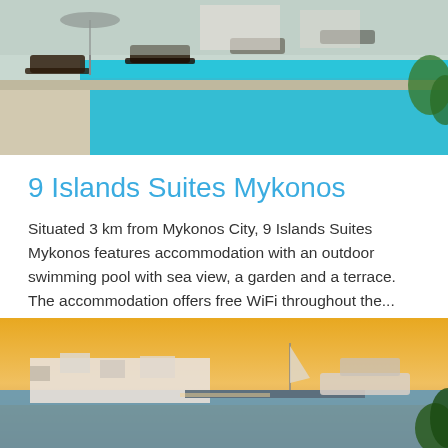[Figure (photo): Outdoor swimming pool area with lounge chairs and umbrellas, Mykonos]
9 Islands Suites Mykonos
Situated 3 km from Mykonos City, 9 Islands Suites Mykonos features accommodation with an outdoor swimming pool with sea view, a garden and a terrace. The accommodation offers free WiFi throughout the... read more
Rating  9.3
Read more   Available rooms
[Figure (photo): Harbor view of Mykonos at sunset with boats and white buildings]